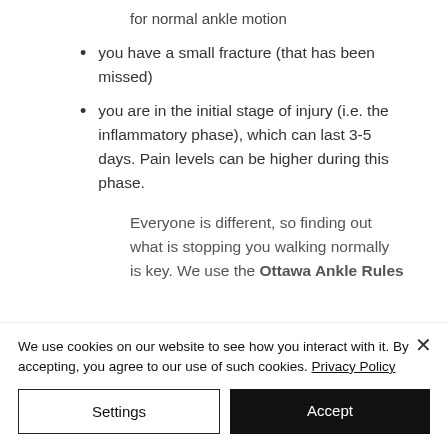for normal ankle motion
you have a small fracture (that has been missed)
you are in the initial stage of injury (i.e. the inflammatory phase), which can last 3-5 days. Pain levels can be higher during this phase.
Everyone is different, so finding out what is stopping you walking normally is key. We use the Ottawa Ankle Rules
We use cookies on our website to see how you interact with it. By accepting, you agree to our use of such cookies. Privacy Policy
Settings
Accept